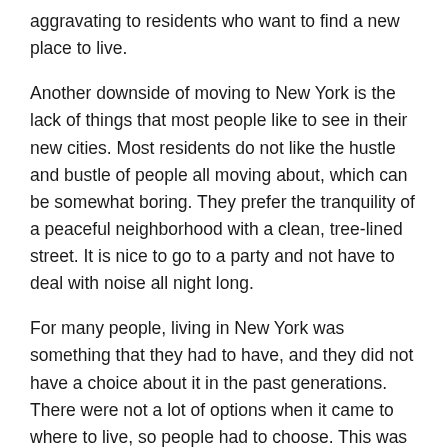aggravating to residents who want to find a new place to live.
Another downside of moving to New York is the lack of things that most people like to see in their new cities. Most residents do not like the hustle and bustle of people all moving about, which can be somewhat boring. They prefer the tranquility of a peaceful neighborhood with a clean, tree-lined street. It is nice to go to a party and not have to deal with noise all night long.
For many people, living in New York was something that they had to have, and they did not have a choice about it in the past generations. There were not a lot of options when it came to where to live, so people had to choose. This was more or less a requirement for success in life at that time.
Some people are fine with these negatives, but others will definitely want to stay in New York City and try to turn things around after moving there. Even if you do not have any immediate plans to move back to the city, you will want to store